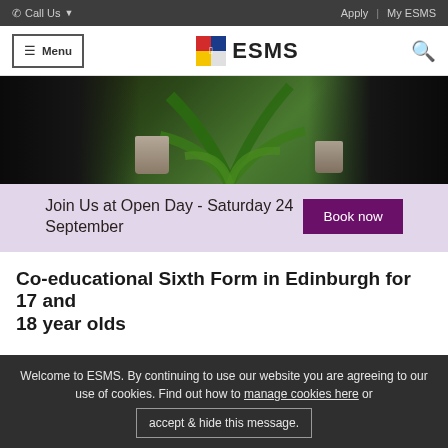Call Us  Apply | My ESMS
[Figure (logo): ESMS logo with shield icon and navigation menu button]
[Figure (photo): Photo of students in school uniforms sitting with mugs, with a palm plant in the background]
Join Us at Open Day - Saturday 24 September  Book now
Co-educational Sixth Form in Edinburgh for 17 and 18 year olds
Welcome to ESMS. By continuing to use our website you are agreeing to our use of cookies. Find out how to manage cookies here or accept & hide this message.